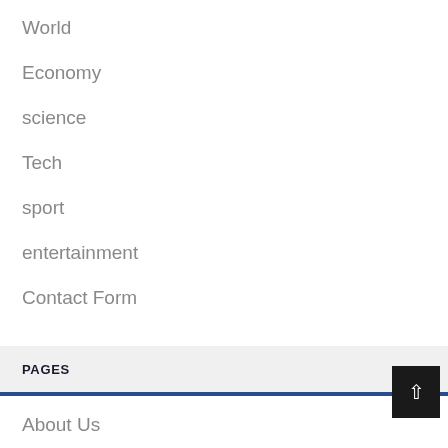World
Economy
science
Tech
sport
entertainment
Contact Form
PAGES
About Us